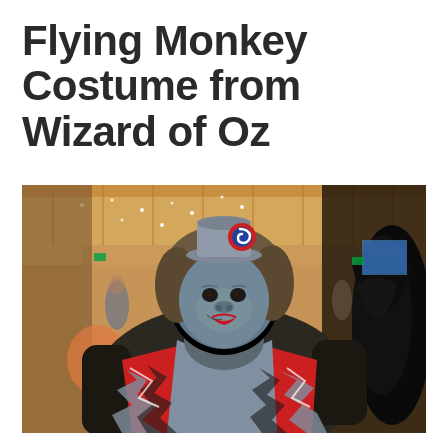Flying Monkey Costume from Wizard of Oz
[Figure (photo): A person in a detailed Flying Monkey costume from Wizard of Oz, featuring blue-grey face makeup with monkey-like prosthetics, red lipstick, a grey hat with a red and blue decorative emblem, a red and grey zigzag-patterned vest/jacket, dark furry arms, and large black feathered wings visible on the right side. The background shows a convention or event hall with warm lighting.]